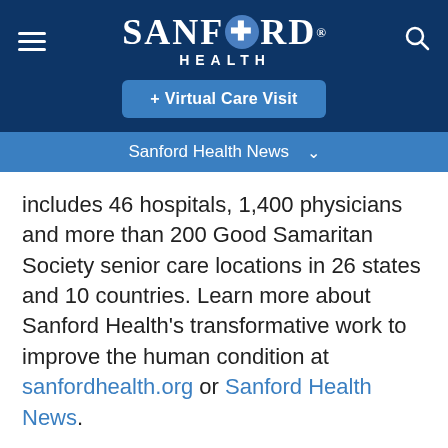[Figure (logo): Sanford Health logo with hamburger menu and search icon on dark navy background]
[Figure (other): Virtual Care Visit button in blue on dark navy background]
Sanford Health News
includes 46 hospitals, 1,400 physicians and more than 200 Good Samaritan Society senior care locations in 26 states and 10 countries. Learn more about Sanford Health's transformative work to improve the human condition at sanfordhealth.org or Sanford Health News.